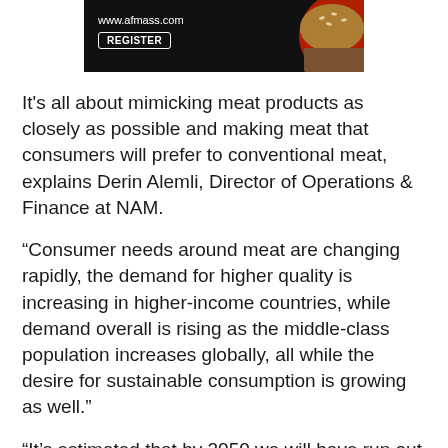[Figure (other): Advertisement banner for www.afmass.com with REGISTER button, black background with food image on right side]
It's all about mimicking meat products as closely as possible and making meat that consumers will prefer to conventional meat, explains Derin Alemli, Director of Operations & Finance at NAM.
“Consumer needs around meat are changing rapidly, the demand for higher quality is increasing in higher-income countries, while demand overall is rising as the middle-class population increases globally, all while the desire for sustainable consumption is growing as well.”
“It’s estimated that by 2050 we will have run out of farmable land to feed our world. It is imperative that